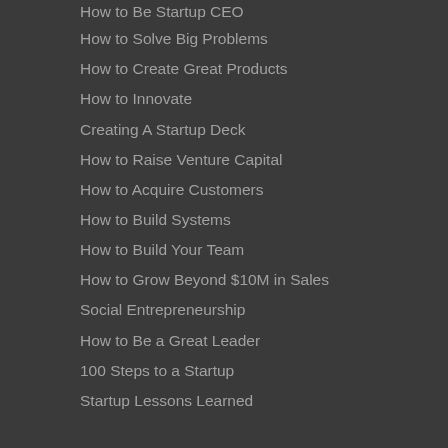How to Be Startup CEO
How to Solve Big Problems
How to Create Great Products
How to Innovate
Creating A Startup Deck
How to Raise Venture Capital
How to Acquire Customers
How to Build Systems
How to Build Your Team
How to Grow Beyond $10M in Sales
Social Entrepreneurship
How to Be a Great Leader
100 Steps to a Startup
Startup Lessons Learned